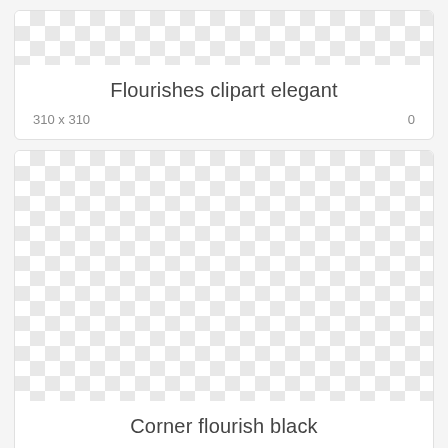[Figure (illustration): Checkerboard transparency pattern representing clipart image placeholder]
Flourishes clipart elegant
310 x 310    0
[Figure (illustration): Checkerboard transparency pattern representing clipart image placeholder]
Corner flourish black
728 x 706    0
[Figure (illustration): Checkerboard transparency pattern representing clipart image placeholder - partially visible]
Corner flourish black (partial)